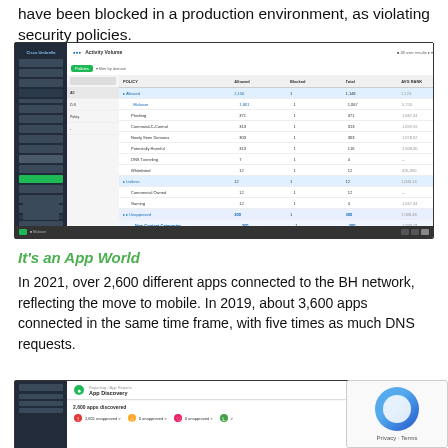have been blocked in a production environment, as violating security policies.
[Figure (screenshot): Cisco Umbrella dashboard screenshot showing a security policy activity report with a dark sidebar and data table listing various application categories, their DNS requests, and blocked activity counts.]
It's an App World
In 2021, over 2,600 different apps connected to the BH network, reflecting the move to mobile. In 2019, about 3,600 apps connected in the same time frame, with five times as much DNS requests.
[Figure (screenshot): Cisco Umbrella App Discovery dashboard screenshot showing 2,600 apps discovered with summary statistics icons at the bottom.]